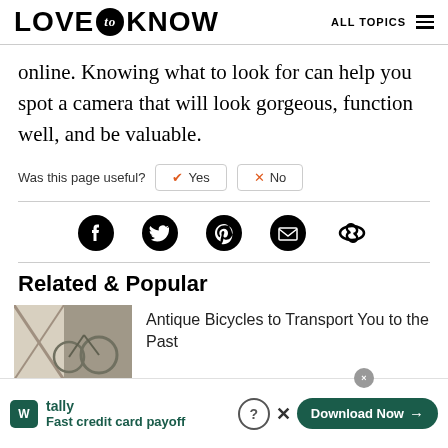LOVE to KNOW — ALL TOPICS
online. Knowing what to look for can help you spot a camera that will look gorgeous, function well, and be valuable.
Was this page useful?
Related & Popular
Antique Bicycles to Transport You to the Past
[Figure (screenshot): Advertisement banner for Tally app: 'Fast credit card payoff' with Download Now button]
Tally – Fast credit card payoff – Download Now